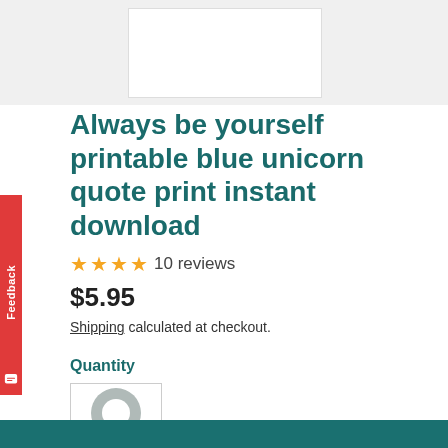[Figure (photo): Top portion of a product listing page showing a cropped product image area with light gray background and a white product card partially visible]
Always be yourself printable blue unicorn quote print instant download
★★★★ 10 reviews
$5.95
Shipping calculated at checkout.
Quantity
[Figure (screenshot): Quantity selector input with a circular spinner/loading indicator inside a bordered box]
[Figure (other): Teal/dark cyan bottom bar button area]